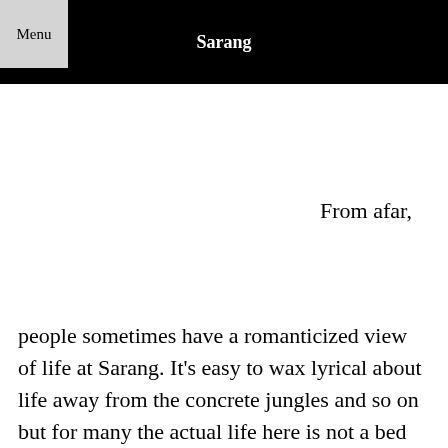Menu  Sarang
From afar,
people sometimes have a romanticized view of life at Sarang. It’s easy to wax lyrical about life away from the concrete jungles and so on but for many the actual life here is not a bed of roses.